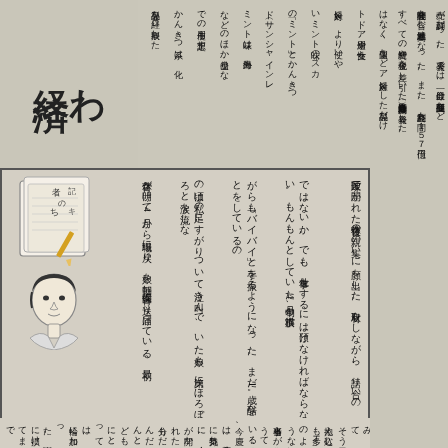わ 経済
製品を経ロ摂取した　かんきつ系は、化　での使用も想定す　などのほか山登りな　ミント味は、海外出　ド（サンシャインレ　の「ミント」とかんきつ　いミント味の「スカ　対象に、より使いや　トドア用途や女性ら
[Figure (illustration): Notebook/notepad with pencil illustration and text 者のち キ]
[Figure (illustration): Simple line drawing of a woman's face/head]
育休が明けて4月から職場に戻り、娘を毎朝、保育園に送り届けている。最初の頃は私の足にすがりついて泣き叫んで、いた娘も、次第にほろぼろと涙を流しながらも「バイバイ」と手を振るようになった。まだ1歳。酷なことをしているのではないか。でも、仕事をするには預けなければならない。もんもんとしていた4月中旬、横浜市戸塚区で開かれた育休後の親の集いに顔を出した。取材をしながら、語り合いの
悩み語り合えれば
輪に加わった。園に損けてまで分もだんだんとどもにとっては、は、自分次第に気持ちに、会が開かれた者らが集うている昨今、営抱え込む人も多エのような場ながりの中で話がいるのではないてみて、そう思
にも認知症や脳当事者らが集うに、気持ちの言葉会が開かれたている昨今、慶抱え込む人も多エのような場ながりの中で話がいるのではないてみて、そう思
すべての経費や税金を差し引いた最終（当期）　月期決算を発表した。　関連会社を含む連結最高となった。また、終利益も間１５７億円　売が好調だった。　発表では、一般会　け投資型商品など
はなく、豊山などア　対象にした製品だけ